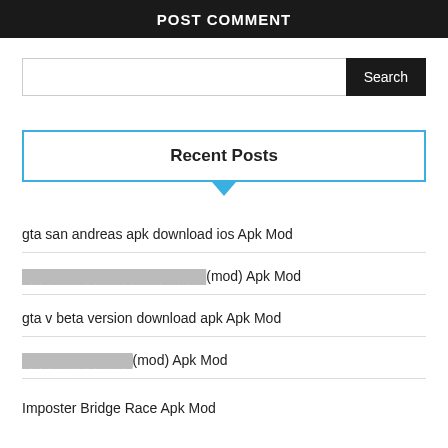POST COMMENT
[Figure (other): Search input box with Search button]
Recent Posts
gta san andreas apk download ios Apk Mod
[redacted text](mod) Apk Mod
gta v beta version download apk Apk Mod
[redacted text](mod) Apk Mod
Imposter Bridge Race Apk Mod